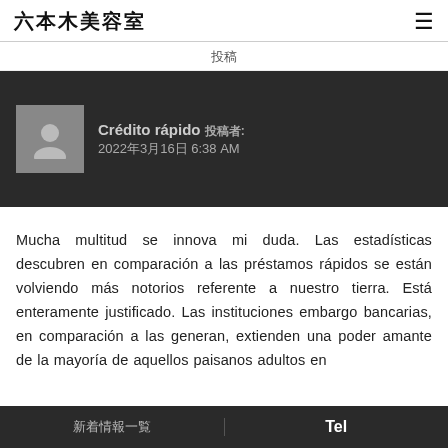六本木美容室
投稿
[Figure (other): Dark banner with user avatar placeholder (gray silhouette icon) and author info: Crédito rápido, 2022年3月16日 6:38 AM]
Mucha multitud se innova mi duda. Las estadísticas descubren en comparación a las préstamos rápidos se están volviendo más notorios referente a nuestro tierra. Está enteramente justificado. Las instituciones embargo bancarias, en comparación a las generan, extienden una poder amante de la mayoría de aquellos paisanos adultos en
新着情報一覧　　　Tel